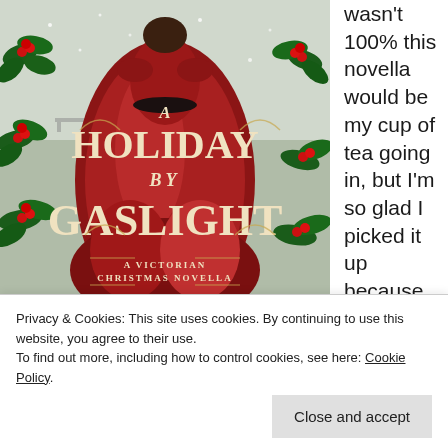[Figure (illustration): Book cover of 'A Holiday by Gaslight: A Victorian Christmas Novella' showing a woman in a red Victorian dress from behind, surrounded by holly and berries in a snowy winter scene]
wasn't 100% this novella would be my cup of tea going in, but I'm so glad I picked it up because my holiday reading
Privacy & Cookies: This site uses cookies. By continuing to use this website, you agree to their use.
To find out more, including how to control cookies, see here: Cookie Policy
Close and accept